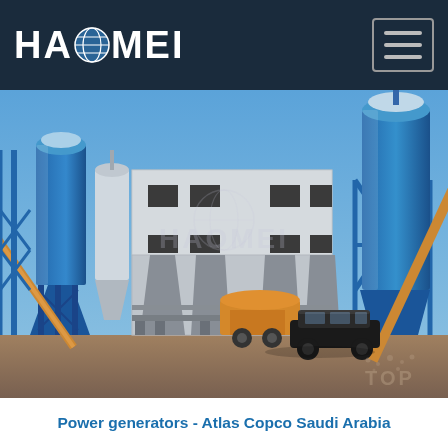HAOMEI
[Figure (photo): Photograph of a large concrete batching plant with blue steel silos and towers, a central white multi-story control/mixing building, yellow structural supports, and a black car parked in the foreground on dirt ground. Blue sky background. HAOMEI watermark logo overlay visible on the building.]
Power generators - Atlas Copco Saudi Arabia